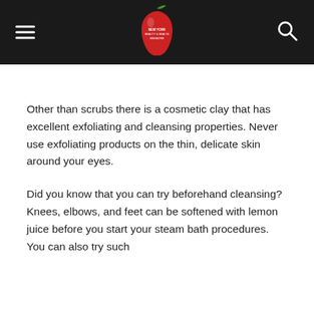New York Beauty & Health Magazine
Other than scrubs there is a cosmetic clay that has excellent exfoliating and cleansing properties. Never use exfoliating products on the thin, delicate skin around your eyes.
Did you know that you can try beforehand cleansing? Knees, elbows, and feet can be softened with lemon juice before you start your steam bath procedures. You can also try such